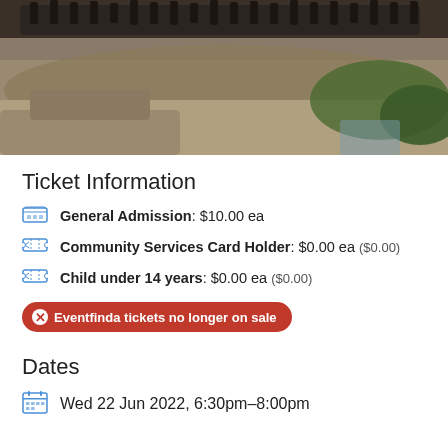[Figure (photo): Close-up photo of what appears to be a lizard or reptile with spiny ridges along its back, resting on a rocky surface with green foliage in the background.]
Ticket Information
General Admission: $10.00 ea
Community Services Card Holder: $0.00 ea ($0.00)
Child under 14 years: $0.00 ea ($0.00)
Eventfinda tickets no longer on sale
Dates
Wed 22 Jun 2022, 6:30pm–8:00pm